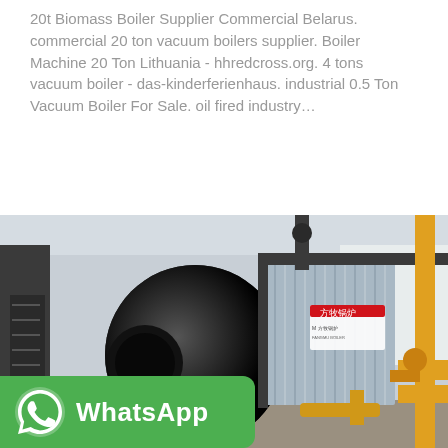20t Biomass Boiler Supplier Commercial Belarus. commercial 20 ton vacuum boilers supplier. Boiler Machine 20 Ton Lithuania - hhredcross.org. 4 tons vacuum boiler - das-kinderferienhaus. industrial 0.5 Ton Vacuum Boiler For Sale. oil fired industry…
[Figure (other): Button labeled 'Get Price' with cyan/turquoise background]
[Figure (photo): Photograph of a large industrial biomass/gas boiler in a factory setting, showing a large cylindrical black burner on the left, silver corrugated boiler body in the center with Chinese brand markings, and yellow gas pipes on the right. Industrial building interior visible.]
[Figure (logo): WhatsApp banner with green background showing WhatsApp logo icon and the text 'WhatsApp' in white bold letters]